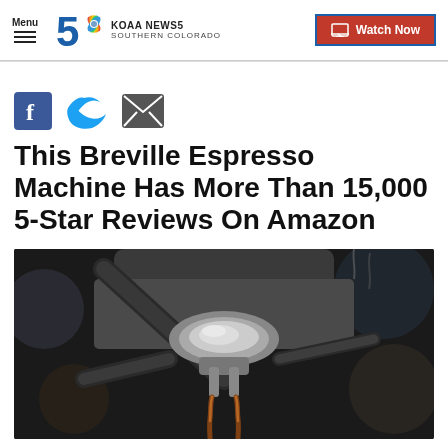Menu | KOAA NEWS5 SOUTHERN COLORADO | Watch Now
[Figure (logo): KOAA News5 Southern Colorado logo with NBC peacock and number 5]
[Figure (infographic): Social sharing icons: Facebook (blue), Twitter (cyan/blue), Email (dark grey envelope)]
This Breville Espresso Machine Has More Than 15,000 5-Star Reviews On Amazon
[Figure (photo): Close-up photo of an espresso machine portafilter with espresso pouring out, dark moody tones with bokeh background]